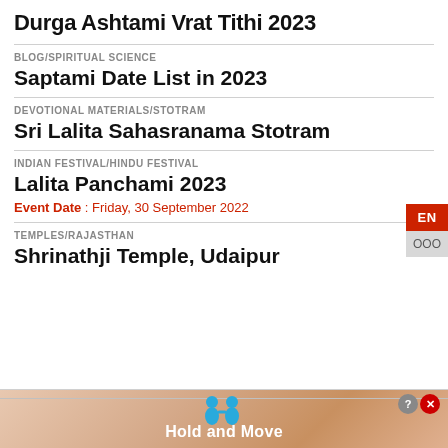Durga Ashtami Vrat Tithi 2023
BLOG/SPIRITUAL SCIENCE
Saptami Date List in 2023
DEVOTIONAL MATERIALS/STOTRAM
Sri Lalita Sahasranama Stotram
INDIAN FESTIVAL/HINDU FESTIVAL
Lalita Panchami 2023
Event Date : Friday, 30 September 2022
TEMPLES/RAJASTHAN
Shrinathji Temple, Udaipur
[Figure (other): Advertisement banner showing 'Hold and Move' with decorative figures and close/help buttons]